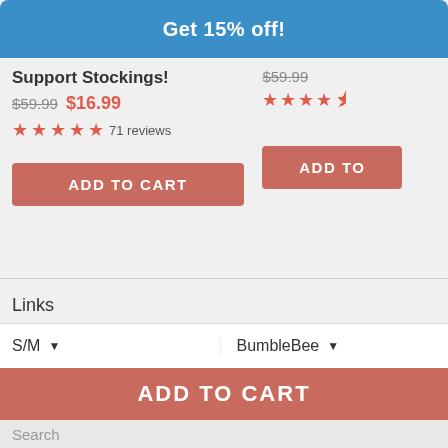Get 15% off!
Support Stockings!
$59.99  $16.99
★★★★★ 71 reviews
$59.99
★★★★½
ADD TO CART
ADD TO
Links
Track My Order
S/M
BumbleBee
ADD TO CART
Search